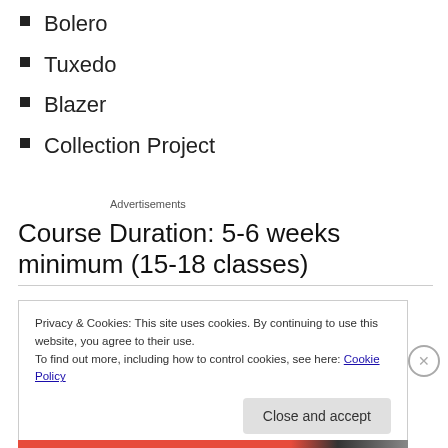Bolero
Tuxedo
Blazer
Collection Project
Advertisements
Course Duration: 5-6 weeks minimum (15-18 classes)
Privacy & Cookies: This site uses cookies. By continuing to use this website, you agree to their use.
To find out more, including how to control cookies, see here: Cookie Policy